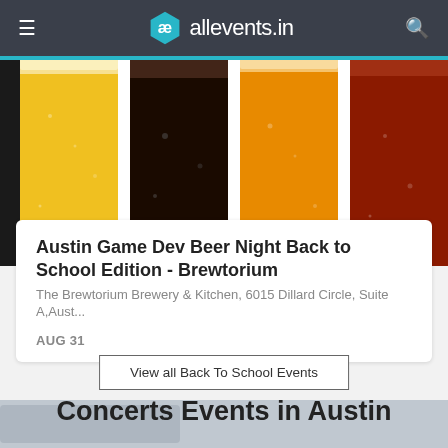allevents.in
[Figure (photo): Four glasses of different beer varieties — golden lager, dark stout, amber ale, and red/brown ale — condensation visible on the glasses, cropped top portion showing]
Austin Game Dev Beer Night Back to School Edition - Brewtorium
The Brewtorium Brewery & Kitchen, 6015 Dillard Circle, Suite A,Aust...
AUG 31
View all Back To School Events
Concerts Events in Austin
[Figure (photo): Partial bottom strip showing beginning of another event image]